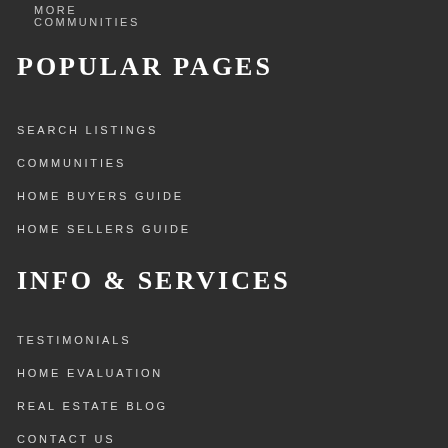MORE COMMUNITIES
POPULAR PAGES
SEARCH LISTINGS
COMMUNITIES
HOME BUYERS GUIDE
HOME SELLERS GUIDE
INFO & SERVICES
TESTIMONIALS
HOME EVALUATION
REAL ESTATE BLOG
CONTACT US